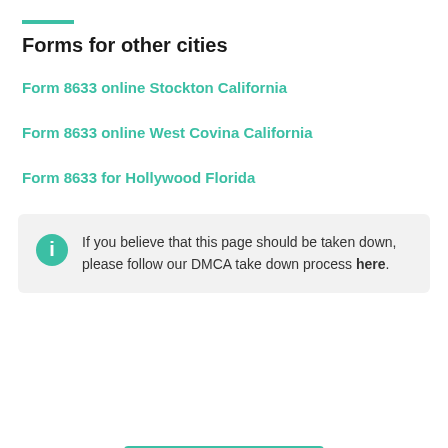Forms for other cities
Form 8633 online Stockton California
Form 8633 online West Covina California
Form 8633 for Hollywood Florida
If you believe that this page should be taken down, please follow our DMCA take down process here.